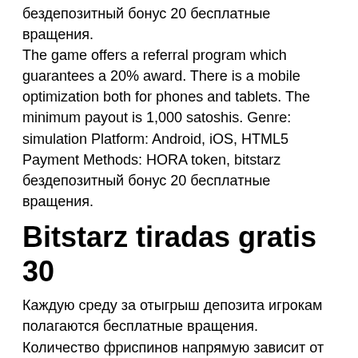бездепозитный бонус 20 бесплатные вращения. The game offers a referral program which guarantees a 20% award. There is a mobile optimization both for phones and tablets. The minimum payout is 1,000 satoshis. Genre: simulation Platform: Android, iOS, HTML5 Payment Methods: HORA token, bitstarz бездепозитный бонус 20 бесплатные вращения.
Bitstarz tiradas gratis 30
Каждую среду за отыгрыш депозита игрокам полагаются бесплатные вращения. Количество фриспинов напрямую зависит от суммы депозита: 20 вращений за депозит от 30. User: bitstarz бездепозитный бонус 20 бесплатные вращения, bitstarz. Acle model flying club forum – member profile &gt; profile page. Are you fascinated to earn free bitcoins, bitstarz